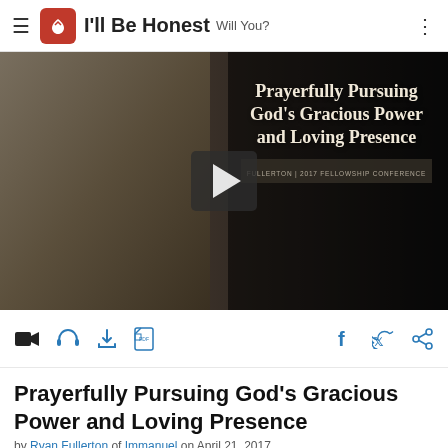I'll Be Honest  Will You?
[Figure (screenshot): Video thumbnail showing a man in a blue plaid shirt standing at a wooden podium. Text overlay reads: 'Prayerfully Pursuing God's Gracious Power and Loving Presence' with 'Fullerton | 2017 Fellowship Conference' badge. A play button is visible in the center.]
[Figure (infographic): Action icons bar with video camera, headphones, download, PDF icons on left and Facebook, Twitter, share icons on right.]
Prayerfully Pursuing God's Gracious Power and Loving Presence
by Ryan Fullerton of Immanuel on April 21, 2017